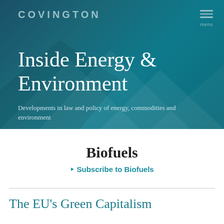COVINGTON
Inside Energy & Environment
Developments in law and policy of energy, commodities and environment
Biofuels
Subscribe to Biofuels
The EU's Green Capitalism